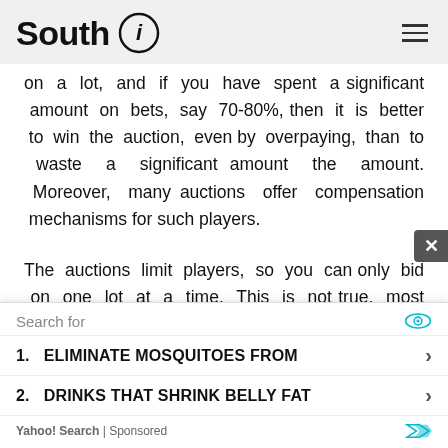South i
on a lot, and if you have spent a significant amount on bets, say 70-80%, then it is better to win the auction, even by overpaying, than to waste a significant amount the amount. Moreover, many auctions offer compensation mechanisms for such players.
The auctions limit players, so you can only bid on one lot at a time. This is not true, most auctions offer the possibility of multiple bids, this is beneficial to the auction and interesting to the players. But
[Figure (screenshot): Advertisement overlay: Yahoo! Search sponsored results. Search for: 1. ELIMINATE MOSQUITOES FROM 2. DRINKS THAT SHRINK BELLY FAT. Yahoo! Search | Sponsored.]